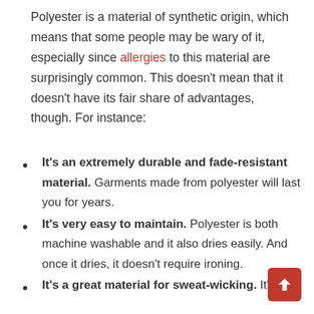Polyester is a material of synthetic origin, which means that some people may be wary of it, especially since allergies to this material are surprisingly common. This doesn't mean that it doesn't have its fair share of advantages, though. For instance:
It's an extremely durable and fade-resistant material. Garments made from polyester will last you for years.
It's very easy to maintain. Polyester is both machine washable and it also dries easily. And once it dries, it doesn't require ironing.
It's a great material for sweat-wicking. It's a